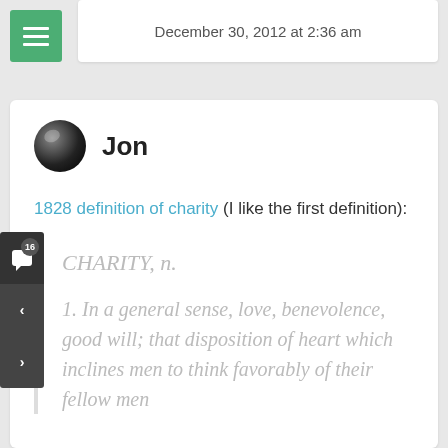December 30, 2012 at 2:36 am
Jon
1828 definition of charity (I like the first definition):
CHARITY, n.

1. In a general sense, love, benevolence, good will; that disposition of heart which inclines men to think favorably of their fellow men